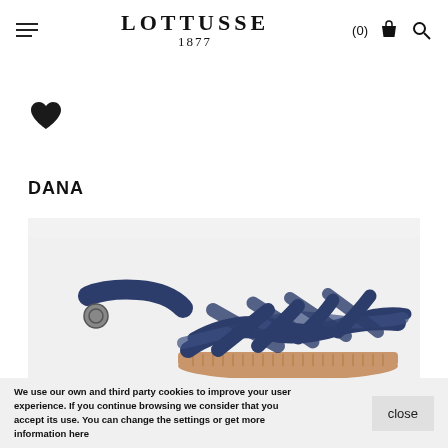LOTTUSSE 1877
[Figure (illustration): Heart / wishlist icon (filled black heart)]
DANA
[Figure (photo): Navy blue leather strappy flat sandal with crossover woven straps and ankle buckle strap, on a light grey background, showing the sole/footbed in tan color]
We use our own and third party cookies to improve your user experience. If you continue browsing we consider that you accept its use. You can change the settings or get more information here